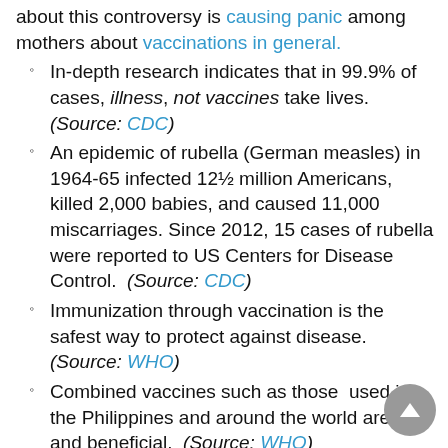about this controversy is causing panic among mothers about vaccinations in general.
In-depth research indicates that in 99.9% of cases, illness, not vaccines take lives. (Source: CDC)
An epidemic of rubella (German measles) in 1964-65 infected 12½ million Americans, killed 2,000 babies, and caused 11,000 miscarriages. Since 2012, 15 cases of rubella were reported to US Centers for Disease Control. (Source: CDC)
Immunization through vaccination is the safest way to protect against disease. (Source: WHO)
Combined vaccines such as those used in the Philippines and around the world are safe and beneficial. (Source: WHO)
For those communities that stopped vaccination, deadly diseases returned. (Source: WHO)
Deadly diseases have returned to the Philippines because people stopped vaccinating their children. (Source: WHO)